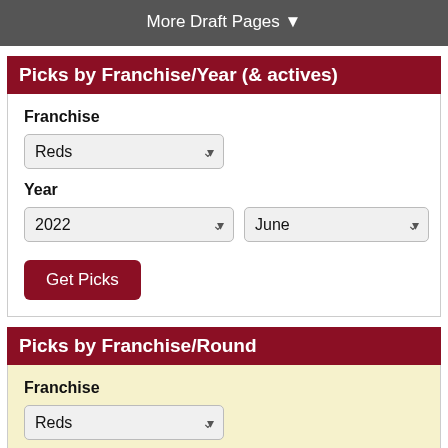More Draft Pages ▼
Picks by Franchise/Year (& actives)
Franchise
Reds (dropdown)
Year
2022 (dropdown), June (dropdown)
Get Picks
Picks by Franchise/Round
Franchise
Reds (dropdown)
Round #
46 (input), June (dropdown)